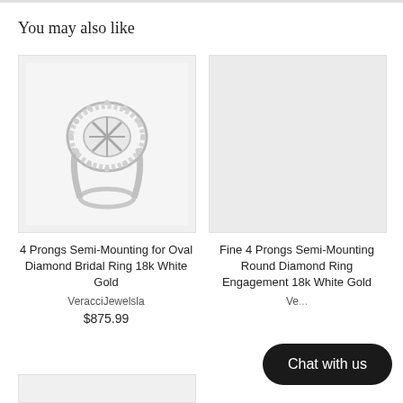You may also like
[Figure (photo): Diamond halo semi-mounting ring in white gold with 4 prongs, oval setting, on white background]
[Figure (photo): Light gray placeholder image for second ring product]
4 Prongs Semi-Mounting for Oval Diamond Bridal Ring 18k White Gold
VeracciJewelsla
$875.99
Fine 4 Prongs Semi-Mounting Round Diamond Ring Engagement 18k White Gold
Ve...
[Figure (screenshot): Chat with us button overlay, dark pill-shaped button with white text]
[Figure (photo): Partial bottom-left product image, mostly cut off]